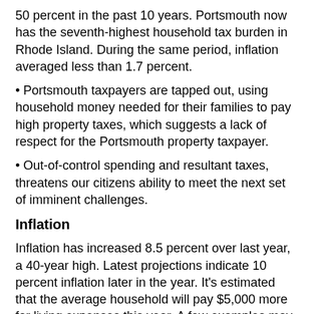50 percent in the past 10 years. Portsmouth now has the seventh-highest household tax burden in Rhode Island. During the same period, inflation averaged less than 1.7 percent.
• Portsmouth taxpayers are tapped out, using household money needed for their families to pay high property taxes, which suggests a lack of respect for the Portsmouth property taxpayer.
• Out-of-control spending and resultant taxes, threatens our citizens ability to meet the next set of imminent challenges.
Inflation
Inflation has increased 8.5 percent over last year, a 40-year high. Latest projections indicate 10 percent inflation later in the year. It's estimated that the average household will pay $5,000 more for living expenses this year. A few examples may prove helpful:
• Heating oil has gone up 130 percent over last year.
• Portsmouth water rates are up 100 percent in the past 10 years.
• Gas at the pump: Not sure, as I haven't been to the gas